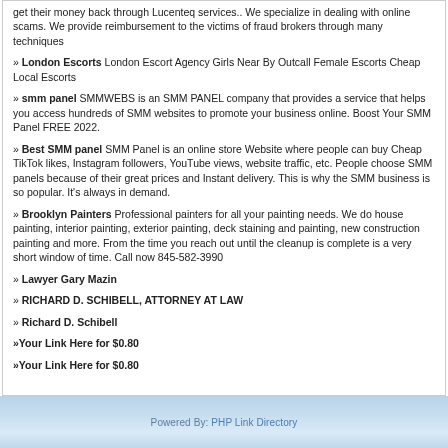get their money back through Lucenteq services.. We specialize in dealing with online scams. We provide reimbursement to the victims of fraud brokers through many techniques
» London Escorts London Escort Agency Girls Near By Outcall Female Escorts Cheap Local Escorts
» smm panel SMMWEBS is an SMM PANEL company that provides a service that helps you access hundreds of SMM websites to promote your business online. Boost Your SMM Panel FREE 2022.
» Best SMM panel SMM Panel is an online store Website where people can buy Cheap TikTok likes, Instagram followers, YouTube views, website traffic, etc. People choose SMM panels because of their great prices and Instant delivery. This is why the SMM business is so popular. It's always in demand.
» Brooklyn Painters Professional painters for all your painting needs. We do house painting, interior painting, exterior painting, deck staining and painting, new construction painting and more. From the time you reach out until the cleanup is complete is a very short window of time. Call now 845-582-3990
» Lawyer Gary Mazin
» RICHARD D. SCHIBELL, ATTORNEY AT LAW
» Richard D. Schibell
»Your Link Here for $0.80
»Your Link Here for $0.80
Powered By: PHP Link Directory